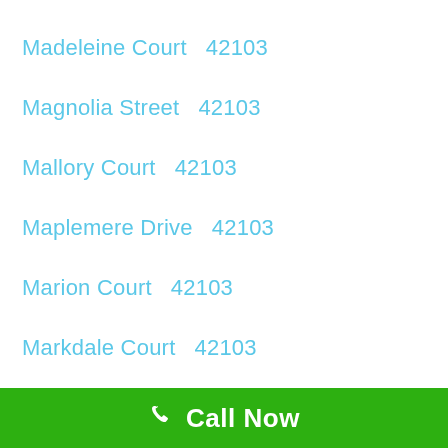Madeleine Court   42103
Magnolia Street   42103
Mallory Court   42103
Maplemere Drive   42103
Marion Court   42103
Markdale Court   42103
Call Now